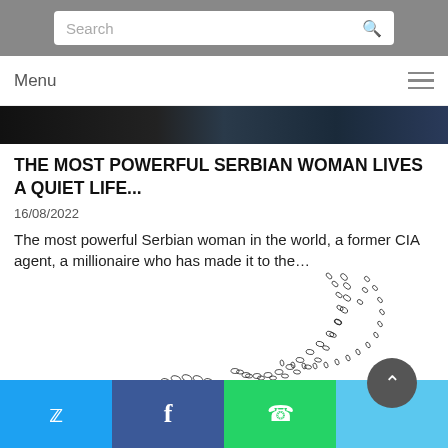Search
Menu
[Figure (photo): Dark banner image at top of article, showing shadowy figures]
THE MOST POWERFUL SERBIAN WOMAN LIVES A QUIET LIFE...
16/08/2022
The most powerful Serbian woman in the world, a former CIA agent, a millionaire who has made it to the…
[Figure (illustration): Black and white illustration of sperm cells forming two wave-like arching shapes against a white background]
Twitter | Facebook | WhatsApp | Scroll to top